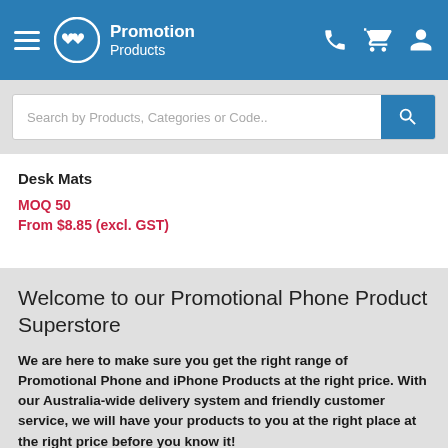Promotion Products
Search by Products, Categories or Code..
Desk Mats
MOQ 50
From $8.85 (excl. GST)
Welcome to our Promotional Phone Product Superstore
We are here to make sure you get the right range of Promotional Phone and iPhone Products at the right price. With our Australia-wide delivery system and friendly customer service, we will have your products to you at the right place at the right price before you know it!